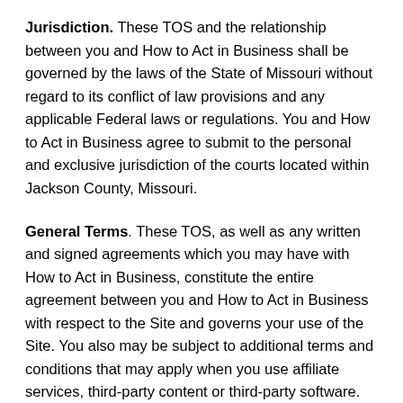Jurisdiction. These TOS and the relationship between you and How to Act in Business shall be governed by the laws of the State of Missouri without regard to its conflict of law provisions and any applicable Federal laws or regulations. You and How to Act in Business agree to submit to the personal and exclusive jurisdiction of the courts located within Jackson County, Missouri.
General Terms. These TOS, as well as any written and signed agreements which you may have with How to Act in Business, constitute the entire agreement between you and How to Act in Business with respect to the Site and governs your use of the Site. You also may be subject to additional terms and conditions that may apply when you use affiliate services, third-party content or third-party software. The failure of How to Act in Business to exercise or